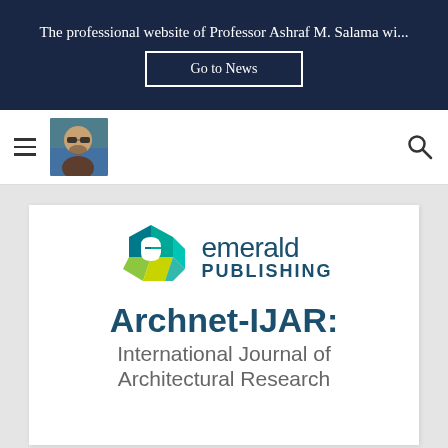The professional website of Professor Ashraf M. Salama wi...
[Figure (screenshot): Go to News button on dark navy banner]
[Figure (photo): Profile photo of Professor Ashraf M. Salama with sunglasses, navigation bar with hamburger menu and search icon]
[Figure (logo): Emerald Publishing logo — geometric hexagonal 'e' icon in teal, green, and cyan with 'emerald PUBLISHING' text in dark teal]
Archnet-IJAR: International Journal of Architectural Research